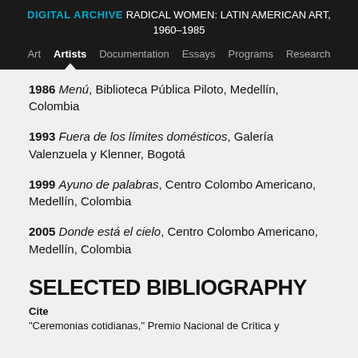DIGITAL ARCHIVE  RADICAL WOMEN: LATIN AMERICAN ART, 1960–1985  Art  Artists  Documentation  Essays  Programs  Research
1986 Menú, Biblioteca Pública Piloto, Medellín, Colombia
1993 Fuera de los límites domésticos, Galería Valenzuela y Klenner, Bogotá
1999 Ayuno de palabras, Centro Colombo Americano, Medellín, Colombia
2005 Donde está el cielo, Centro Colombo Americano, Medellín, Colombia
SELECTED BIBLIOGRAPHY
Cite
"Ceremonias cotidianas," Premio Nacional de Crítica y